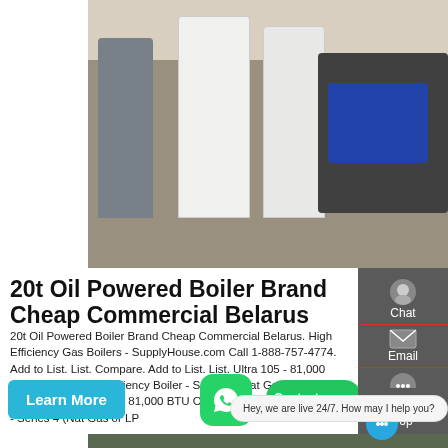[Figure (photo): Industrial boilers and equipment in a warehouse/factory setting. White cylindrical tanks visible, heavy machinery in background.]
20t Oil Powered Boiler Brand Cheap Commercial Belarus
20t Oil Powered Boiler Brand Cheap Commercial Belarus. High Efficiency Gas Boilers - SupplyHouse.com Call 1-888-757-4774. Add to List. List. Compare. Add to List. List. Ultra 105 - 81,000 BTU Output High Efficiency Boiler - Series 4 (Nat Gas or LP) 383-500-734 Ultra 105 81,000 BTU Output High Efficiency Boiler - Series 4 (Nat Gas or LP
[Figure (photo): Industrial boiler room interior with orange crane, gauges, and machinery visible.]